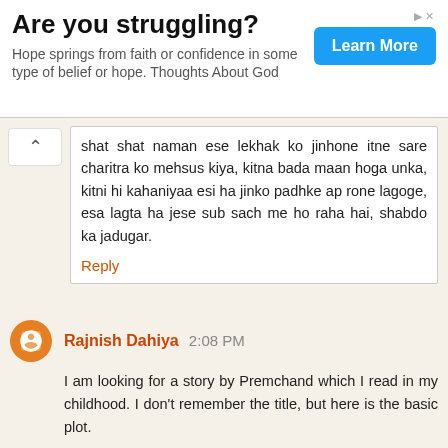[Figure (infographic): Advertisement banner: 'Are you struggling?' with subtitle 'Hope springs from faith or confidence in some type of belief or hope. Thoughts About God' and a blue 'Learn More' button.]
shat shat naman ese lekhak ko jinhone itne sare charitra ko mehsus kiya, kitna bada maan hoga unka, kitni hi kahaniyaa esi ha jinko padhke ap rone lagoge, esa lagta ha jese sub sach me ho raha hai, shabdo ka jadugar.
Reply
Rajnish Dahiya 2:08 PM
I am looking for a story by Premchand which I read in my childhood. I don't remember the title, but here is the basic plot.
There is a girl, his father is professor in the college. There are two students, say S1 and S2, who are good in academics. Girl loves S1, S2 also like girl but never acts on it. Now S1 is socialist type of guy and S2 is capitalist. father want her daughter to marry S2 because he thinks that s2 will be more successful financially. To